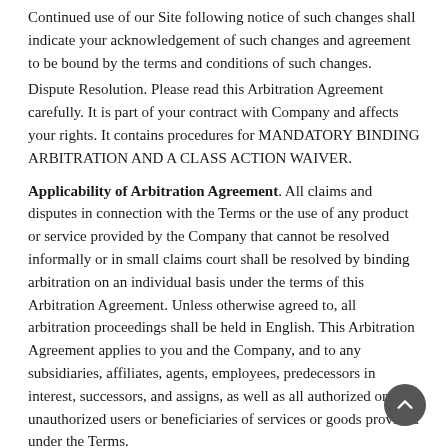Continued use of our Site following notice of such changes shall indicate your acknowledgement of such changes and agreement to be bound by the terms and conditions of such changes.
Dispute Resolution. Please read this Arbitration Agreement carefully. It is part of your contract with Company and affects your rights. It contains procedures for MANDATORY BINDING ARBITRATION AND A CLASS ACTION WAIVER.
Applicability of Arbitration Agreement. All claims and disputes in connection with the Terms or the use of any product or service provided by the Company that cannot be resolved informally or in small claims court shall be resolved by binding arbitration on an individual basis under the terms of this Arbitration Agreement. Unless otherwise agreed to, all arbitration proceedings shall be held in English. This Arbitration Agreement applies to you and the Company, and to any subsidiaries, affiliates, agents, employees, predecessors in interest, successors, and assigns, as well as all authorized or unauthorized users or beneficiaries of services or goods provided under the Terms.